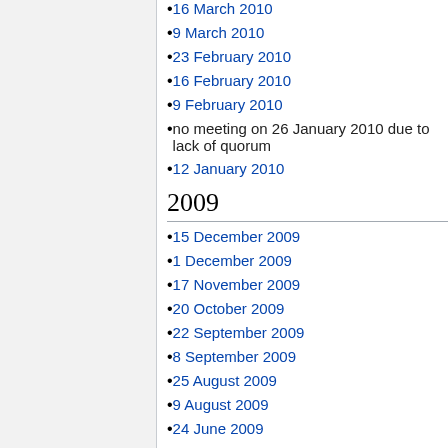16 March 2010
9 March 2010
23 February 2010
16 February 2010
9 February 2010
no meeting on 26 January 2010 due to lack of quorum
12 January 2010
2009
15 December 2009
1 December 2009
17 November 2009
20 October 2009
22 September 2009
8 September 2009
25 August 2009
9 August 2009
24 June 2009